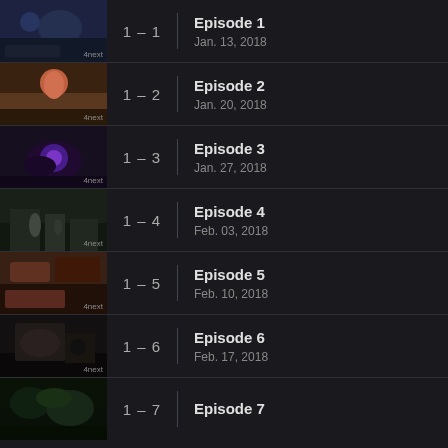1 – 1 | Episode 1 | Jan. 13, 2018
1 – 2 | Episode 2 | Jan. 20, 2018
1 – 3 | Episode 3 | Jan. 27, 2018
1 – 4 | Episode 4 | Feb. 03, 2018
1 – 5 | Episode 5 | Feb. 10, 2018
1 – 6 | Episode 6 | Feb. 17, 2018
1 – 7 | Episode 7